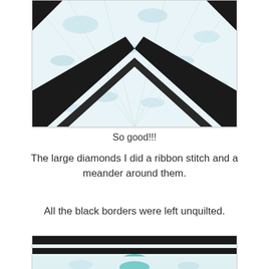[Figure (photo): Close-up photograph of a quilt showing white/light blue marbled fabric with black chevron/diamond border strips forming a V-shape pointing upward in the center of the image.]
So good!!!
The large diamonds I did a ribbon stitch and a meander around them.
All the black borders were left unquilted.
[Figure (photo): Partial photograph of a quilt showing black border strips with light blue/teal fabric peeking through at the bottom, partially cut off.]